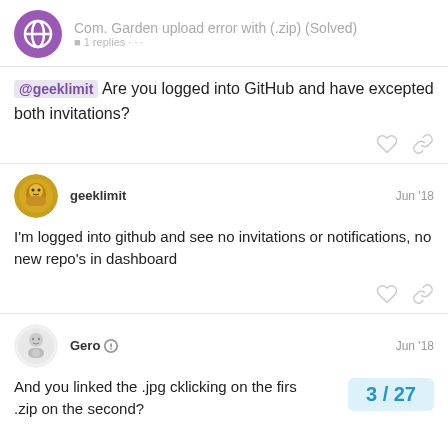Com. Garden upload error with (.zip) (Solved)
@geeklimit Are you logged into GitHub and have excepted both invitations?
geeklimit  Jun '18
I'm logged into github and see no invitations or notifications, no new repo's in dashboard
Gero  Jun '18
And you linked the .jpg cklicking on the firs .zip on the second?
3 / 27